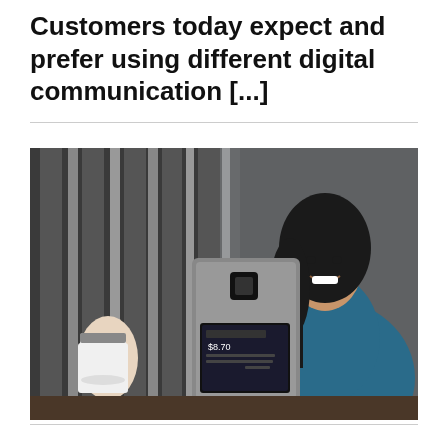Customers today expect and prefer using different digital communication [...]
[Figure (photo): A smiling woman in a teal/blue top holding a tablet device showing a Square point-of-sale screen with a total of $8.70. A customer's hand holds a white paper coffee cup toward the screen. The background shows a modern building interior.]